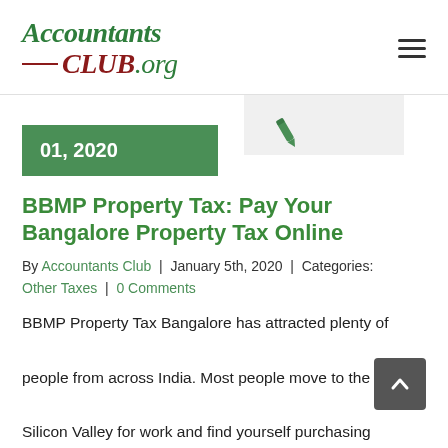Accountants CLUB.org
01, 2020
[Figure (illustration): Pen/edit icon in light gray box]
BBMP Property Tax: Pay Your Bangalore Property Tax Online
By Accountants Club | January 5th, 2020 | Categories: Other Taxes | 0 Comments
BBMP Property Tax Bangalore has attracted plenty of people from across India. Most people move to the Silicon Valley for work and find yourself purchasing